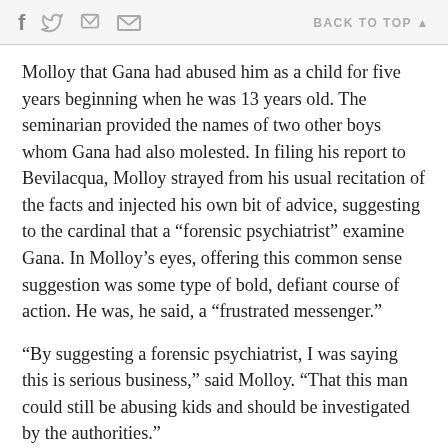f  [twitter]  [print]  [email]    BACK TO TOP ▲
Molloy that Gana had abused him as a child for five years beginning when he was 13 years old. The seminarian provided the names of two other boys whom Gana had also molested. In filing his report to Bevilacqua, Molloy strayed from his usual recitation of the facts and injected his own bit of advice, suggesting to the cardinal that a “forensic psychiatrist” examine Gana. In Molloy’s eyes, offering this common sense suggestion was some type of bold, defiant course of action. He was, he said, a “frustrated messenger.”
“By suggesting a forensic psychiatrist, I was saying this is serious business,” said Molloy. “That this man could still be abusing kids and should be investigated by the authorities.”
Molloy’s advice was ignored. The seminarian was